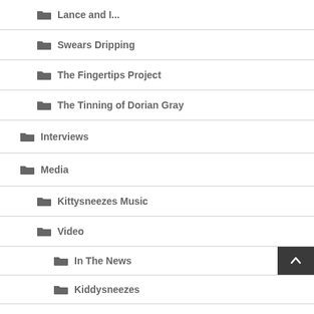Lance and I...
Swears Dripping
The Fingertips Project
The Tinning of Dorian Gray
Interviews
Media
Kittysneezes Music
Video
In The News
Kiddysneezes
Ted Talks